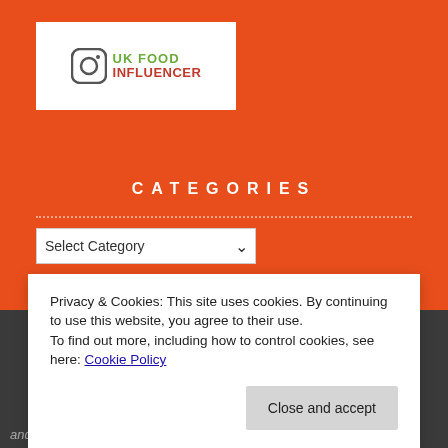[Figure (logo): UK Food Influencer logo with Instagram camera icon, white background, green text 'UK FOOD' and red text 'INFLUENCER']
CATEGORIES
Select Category (dropdown)
Privacy & Cookies: This site uses cookies. By continuing to use this website, you agree to their use.
To find out more, including how to control cookies, see here: Cookie Policy
Close and accept
↑ Back to Top © SUE-EATS.com and Claire Thomas ... and Claire Thomas with appropriate and specific direction to the